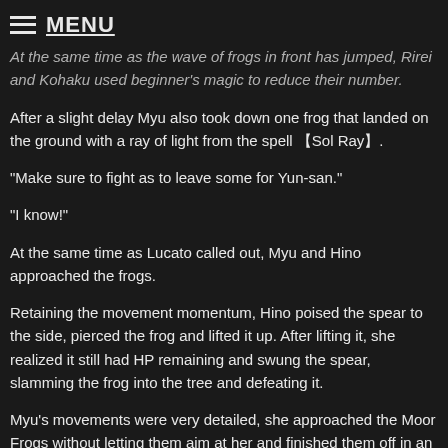≡ MENU
At the same time as the wave of frogs in front has jumped, Rirei and Kohaku used beginner's magic to reduce their number.
After a slight delay Myu also took down one frog that landed on the ground with a ray of light from the spell 【Sol Ray】.
"Make sure to fight as to leave some for Yun-san."
"I know!"
At the same time as Lucato called out, Myu and Hino approached the frogs.
Retaining the movement momentum, Hino poised the spear to the side, pierced the frog and lifted it up. After lifting it, she realized it still had HP remaining and swung the spear, slamming the frog into the tree and defeating it.
Myu's movements were very detailed, she approached the Moor Frogs without letting them aim at her and finished them off in an instant.
"Just like that, the flock was reduced to a half... no, to three frogs huh."